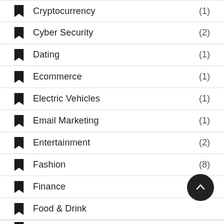Cryptocurrency (1)
Cyber Security (2)
Dating (1)
Ecommerce (1)
Electric Vehicles (1)
Email Marketing (1)
Entertainment (2)
Fashion (8)
Finance (1)
Food & Drink
(partial item)